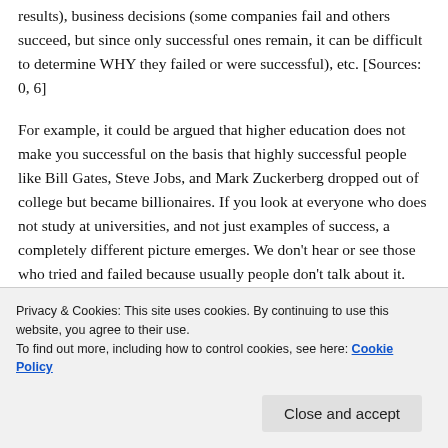results), business decisions (some companies fail and others succeed, but since only successful ones remain, it can be difficult to determine WHY they failed or were successful), etc. [Sources: 0, 6]
For example, it could be argued that higher education does not make you successful on the basis that highly successful people like Bill Gates, Steve Jobs, and Mark Zuckerberg dropped out of college but became billionaires. If you look at everyone who does not study at universities, and not just examples of success, a completely different picture emerges. We don't hear or see those who tried and failed because usually people don't talk about it. Regardless of where it is applied, survivorship bias tends to lead to an overly positive...
Privacy & Cookies: This site uses cookies. By continuing to use this website, you agree to their use.
To find out more, including how to control cookies, see here: Cookie Policy
Close and accept